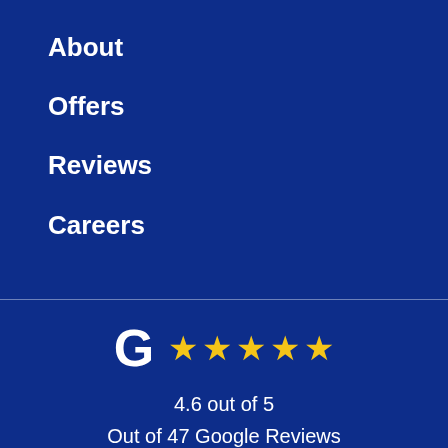About
Offers
Reviews
Careers
[Figure (infographic): Google G logo followed by 5 yellow stars representing a 4.6 out of 5 rating from 47 Google Reviews]
4.6 out of 5
Out of 47 Google Reviews
Privacy Policy · Site Map
© 2013 – 2022 Artisan Roofing & Solar